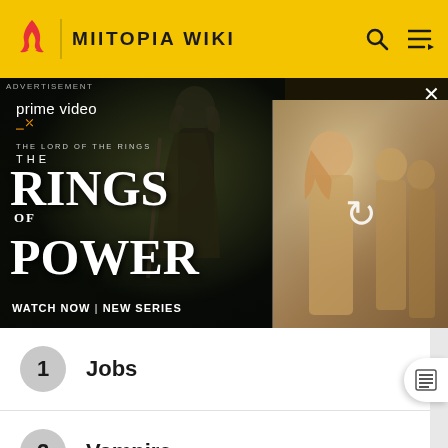MIITOPIA WIKI
[Figure (screenshot): Amazon Prime Video advertisement for 'The Lord of the Rings: The Rings of Power' showing fantasy characters and text 'WATCH NOW | NEW SERIES']
1 Jobs
2 Vampire
3 Mage